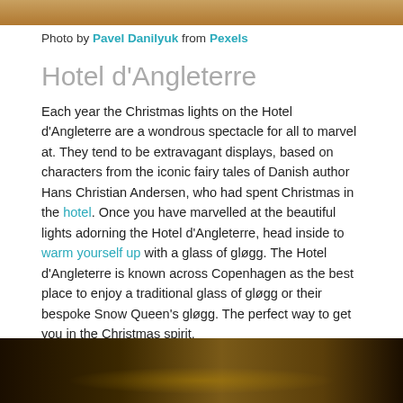[Figure (photo): Top portion of a photo, warm tones, appears to be indoor/decorative scene]
Photo by Pavel Danilyuk from Pexels
Hotel d'Angleterre
Each year the Christmas lights on the Hotel d'Angleterre are a wondrous spectacle for all to marvel at. They tend to be extravagant displays, based on characters from the iconic fairy tales of Danish author Hans Christian Andersen, who had spent Christmas in the hotel. Once you have marvelled at the beautiful lights adorning the Hotel d'Angleterre, head inside to warm yourself up with a glass of gløgg. The Hotel d'Angleterre is known across Copenhagen as the best place to enjoy a traditional glass of gløgg or their bespoke Snow Queen's gløgg. The perfect way to get you in the Christmas spirit.
[Figure (photo): Night photo of Hotel d'Angleterre with golden Christmas lights illuminating the building facade against a dark sky]